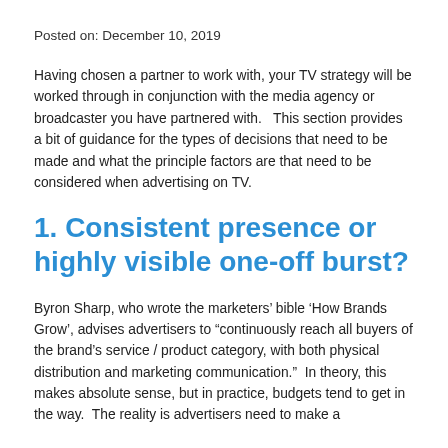Posted on: December 10, 2019
Having chosen a partner to work with, your TV strategy will be worked through in conjunction with the media agency or broadcaster you have partnered with.   This section provides a bit of guidance for the types of decisions that need to be made and what the principle factors are that need to be considered when advertising on TV.
1. Consistent presence or highly visible one-off burst?
Byron Sharp, who wrote the marketers’ bible ‘How Brands Grow’, advises advertisers to “continuously reach all buyers of the brand’s service / product category, with both physical distribution and marketing communication.”  In theory, this makes absolute sense, but in practice, budgets tend to get in the way. The reality is advertisers need to make a